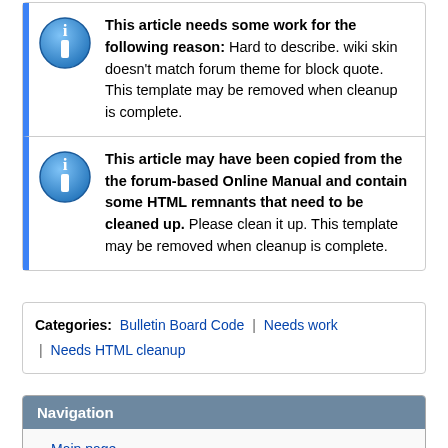This article needs some work for the following reason: Hard to describe. wiki skin doesn't match forum theme for block quote. This template may be removed when cleanup is complete.
This article may have been copied from the the forum-based Online Manual and contain some HTML remnants that need to be cleaned up. Please clean it up. This template may be removed when cleanup is complete.
Categories: Bulletin Board Code | Needs work | Needs HTML cleanup
Navigation
Main page
SMF 2.1 Main Page
SMF 2.0 Main Page